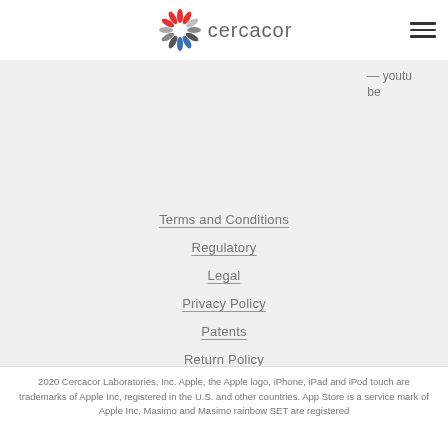[Figure (logo): Cercacor logo: starburst/asterisk icon in red, blue, and gray colors, followed by the text 'cercacor' in gray]
— youtube
Terms and Conditions
Regulatory
Legal
Privacy Policy
Patents
Return Policy
Warranty Policy
2020 Cercacor Laboratories, Inc. Apple, the Apple logo, iPhone, iPad and iPod touch are trademarks of Apple Inc, registered in the U.S. and other countries. App Store is a service mark of Apple Inc. Masimo and Masimo rainbow SET are registered